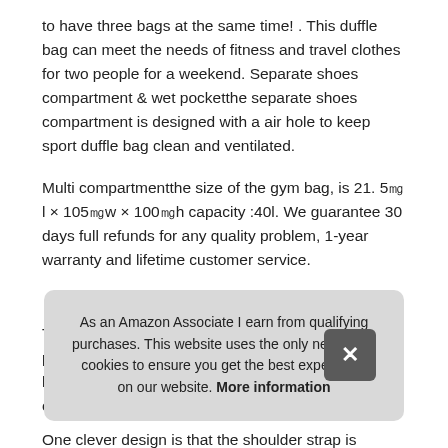to have three bags at the same time! . This duffle bag can meet the needs of fitness and travel clothes for two people for a weekend. Separate shoes compartment & wet pocketthe separate shoes compartment is designed with a air hole to keep sport duffle bag clean and ventilated.
Multi compartmentthe size of the gym bag, is 21. 5㎝l × 105㎝w × 100㎝h capacity :40l. We guarantee 30 days full refunds for any quality problem, 1-year warranty and lifetime customer service.
More information #ad
This [partial text obscured by overlay] pockets [partial] load [partial] of th[partial]
As an Amazon Associate I earn from qualifying purchases. This website uses the only necessary cookies to ensure you get the best experience on our website. More information
One clever design is that the shoulder strap is removable